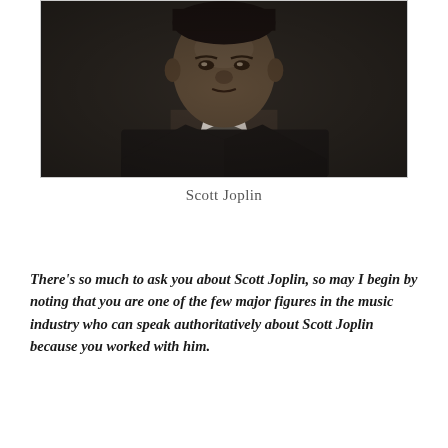[Figure (photo): Black and white portrait photograph of Scott Joplin, showing his head and upper torso. He is wearing a dark suit with a white collar and bow tie. The image has a sepia/monochrome tone.]
Scott Joplin
There's so much to ask you about Scott Joplin, so may I begin by noting that you are one of the few major figures in the music industry who can speak authoritatively about Scott Joplin because you worked with him.